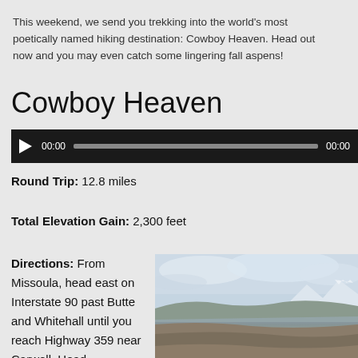This weekend, we send you trekking into the world's most poetically named hiking destination: Cowboy Heaven. Head out now and you may even catch some lingering fall aspens!
Cowboy Heaven
[Figure (other): Audio player widget with play button, timestamp 00:00, progress bar, and end time 00:00 on a dark background]
Round Trip: 12.8 miles
Total Elevation Gain: 2,300 feet
Directions: From Missoula, head east on Interstate 90 past Butte and Whitehall until you reach Highway 359 near Carwell. Head
[Figure (photo): Landscape photo showing a wide open valley with mountains in the background under a partly cloudy sky, with brown and tan terrain in the foreground]